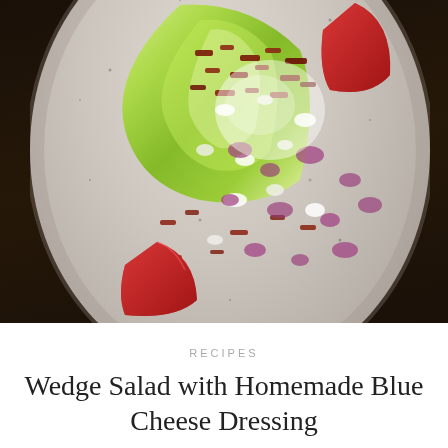[Figure (photo): Overhead close-up photograph of a wedge salad on a speckled white ceramic plate, set on a dark wood surface. The iceberg lettuce wedge is topped with white blue cheese dressing, crumbled bacon bits, crumbled blue cheese, diced red onion, and tomato wedges scattered around the plate.]
RECIPES
Wedge Salad with Homemade Blue Cheese Dressing